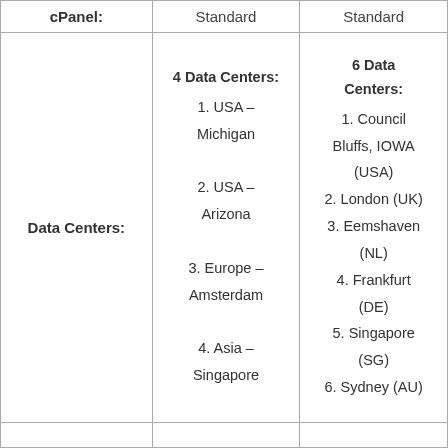|  | Standard | Standard |
| --- | --- | --- |
| cPanel: | Standard | Standard |
| Data Centers: | 4 Data Centers:
1. USA – Michigan
2. USA – Arizona
3. Europe – Amsterdam
4. Asia – Singapore | 6 Data Centers:
1. Council Bluffs, IOWA (USA)
2. London (UK)
3. Eemshaven (NL)
4. Frankfurt (DE)
5. Singapore (SG)
6. Sydney (AU) |
|  |  |  |